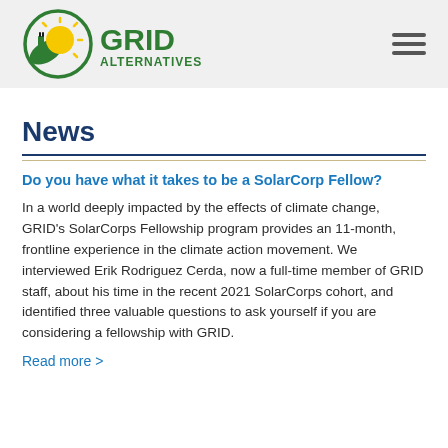GRID ALTERNATIVES
News
Do you have what it takes to be a SolarCorp Fellow?
In a world deeply impacted by the effects of climate change, GRID's SolarCorps Fellowship program provides an 11-month, frontline experience in the climate action movement. We interviewed Erik Rodriguez Cerda, now a full-time member of GRID staff, about his time in the recent 2021 SolarCorps cohort, and identified three valuable questions to ask yourself if you are considering a fellowship with GRID.
Read more >